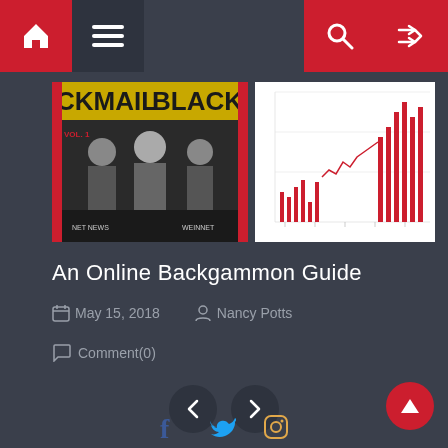Navigation bar with home, menu, search, and shuffle icons
[Figure (photo): Book cover thumbnail showing blackmail/blackbook style publication with people in suits]
[Figure (continuous-plot): Small stock chart or time series bar chart with red bars on white background]
An Online Backgammon Guide
May 15, 2018   Nancy Potts
Comment(0)
Social icons: Facebook, Twitter, Instagram. Back to top button.